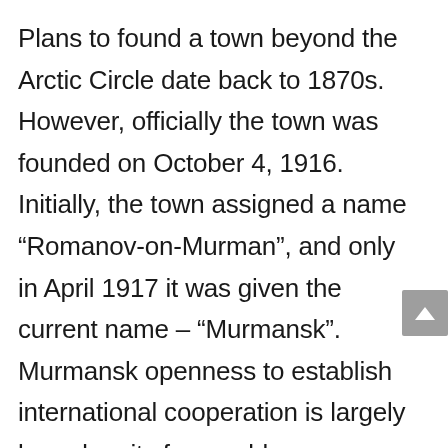Plans to found a town beyond the Arctic Circle date back to 1870s. However, officially the town was founded on October 4, 1916. Initially, the town assigned a name “Romanov-on-Murman”, and only in April 1917 it was given the current name – “Murmansk”. Murmansk openness to establish international cooperation is largely based on its favourable geographical location on the shore of non-freezing Kola bay in close proximity to the international shipping routes and countries of the Northern Europe. Murmansk is the largest city in the world beyond the Polar Circle, with the population of over 280 thousand people. The